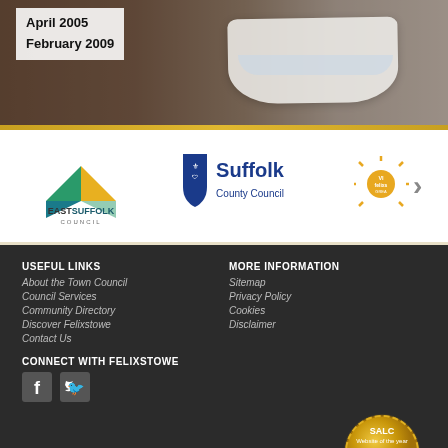[Figure (photo): Top banner photo showing a white boat/vessel shape on a dark background with text overlay showing dates April 2005 and February 2009]
April 2005
February 2009
[Figure (logo): East Suffolk Council logo - geometric triangles in green, teal and yellow with text EASTSUFFOLK COUNCIL]
[Figure (logo): Suffolk County Council logo - shield emblem with text Suffolk County Council]
[Figure (logo): Visit Felixstowe logo - sun rays icon with text]
USEFUL LINKS
About the Town Council
Council Services
Community Directory
Discover Felixstowe
Contact Us
MORE INFORMATION
Sitemap
Privacy Policy
Cookies
Disclaimer
CONNECT WITH FELIXSTOWE
FELIXSTOWE TOWN COUNCIL
Town Hall, Felixstowe, Suffolk IP11 2AG
[Figure (illustration): SALC Website of the year 1st Place Large Councils gold badge/medal with red ribbon]